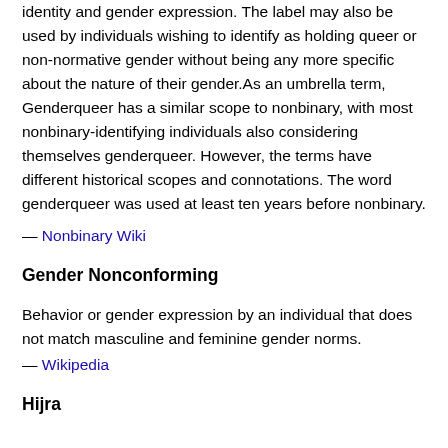identity and gender expression. The label may also be used by individuals wishing to identify as holding queer or non-normative gender without being any more specific about the nature of their gender.As an umbrella term, Genderqueer has a similar scope to nonbinary, with most nonbinary-identifying individuals also considering themselves genderqueer. However, the terms have different historical scopes and connotations. The word genderqueer was used at least ten years before nonbinary.
— Nonbinary Wiki
Gender Nonconforming
Behavior or gender expression by an individual that does not match masculine and feminine gender norms.
— Wikipedia
Hijra